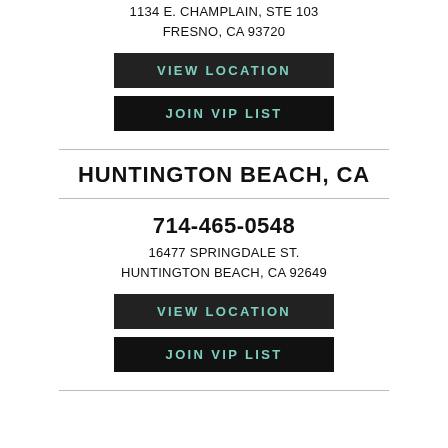1134 E. CHAMPLAIN, STE 103
FRESNO, CA 93720
[Figure (other): VIEW LOCATION button - dark background with teal/green text]
[Figure (other): JOIN VIP LIST button - dark background with teal/green text]
HUNTINGTON BEACH, CA
714-465-0548
16477 SPRINGDALE ST.
HUNTINGTON BEACH, CA 92649
[Figure (other): VIEW LOCATION button - dark background with teal/green text]
[Figure (other): JOIN VIP LIST button - dark background with teal/green text]